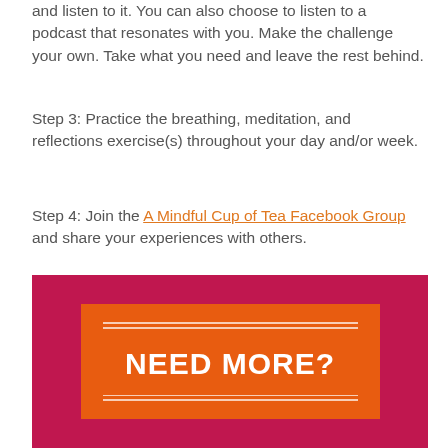and listen to it. You can also choose to listen to a podcast that resonates with you. Make the challenge your own. Take what you need and leave the rest behind.
Step 3: Practice the breathing, meditation, and reflections exercise(s) throughout your day and/or week.
Step 4: Join the A Mindful Cup of Tea Facebook Group and share your experiences with others.
[Figure (infographic): Dark pink/magenta background banner with an orange rectangle in the center containing decorative double lines at top and bottom and bold white text reading NEED MORE?]